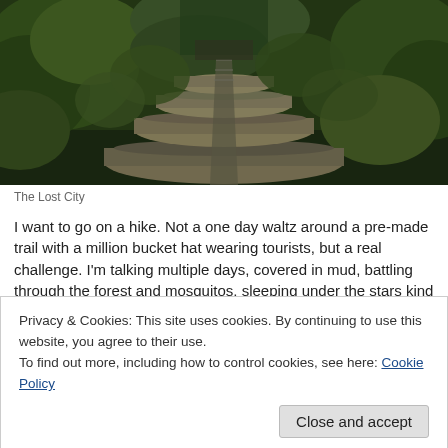[Figure (photo): Aerial/elevated view of the Lost City (Ciudad Perdida), showing ancient terraced stone structures surrounded by dense tropical jungle and vegetation, with stone pathways visible.]
The Lost City
I want to go on a hike. Not a one day waltz around a pre-made trail with a million bucket hat wearing tourists, but a real challenge. I'm talking multiple days, covered in mud, battling through the forest and mosquitos, sleeping under the stars kind of hike. Which is exactly what the Ciudad Perdida entitles, a 5 or 6 day journey through the jungle to the undiscovered city. What I love most about this hike is the fact that it is way less touristy than most, yet just as stunning and beautiful. Also, at a mere price $250 for accommodation, food, transportation,
Privacy & Cookies: This site uses cookies. By continuing to use this website, you agree to their use.
To find out more, including how to control cookies, see here: Cookie Policy
Close and accept